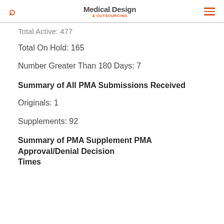Medical Design & Outsourcing
Total Active: 477
Total On Hold: 165
Number Greater Than 180 Days: 7
Summary of All PMA Submissions Received
Originals: 1
Supplements: 92
Summary of PMA Supplement PMA Approval/Denial Decision Times